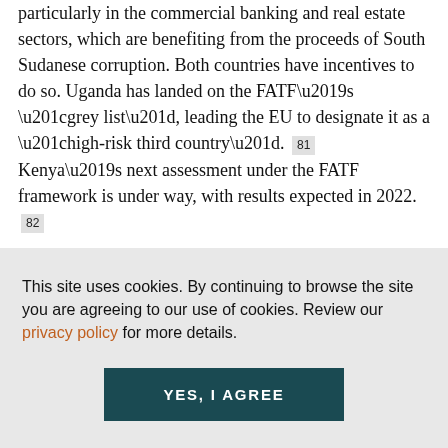particularly in the commercial banking and real estate sectors, which are benefiting from the proceeds of South Sudanese corruption. Both countries have incentives to do so. Uganda has landed on the FATF’s “grey list”, leading the EU to designate it as a “high-risk third country”. [81] Kenya’s next assessment under the FATF framework is under way, with results expected in 2022. [82]
This site uses cookies. By continuing to browse the site you are agreeing to our use of cookies. Review our privacy policy for more details.